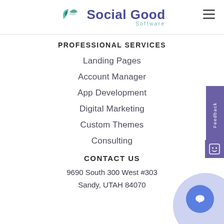Social Good Software
PROFESSIONAL SERVICES
Landing Pages
Account Manager
App Development
Digital Marketing
Custom Themes
Consulting
CONTACT US
9690 South 300 West #303
Sandy, UTAH 84070